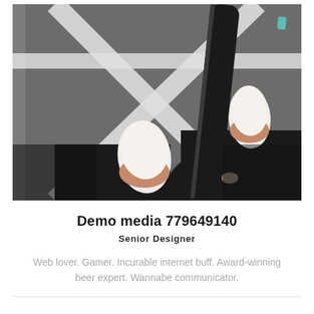[Figure (photo): Overhead view of a person's feet in white slip-on shoes with brown soles, wearing black pants, standing on gray asphalt with white painted lines, holding a black skateboard.]
Demo media 779649140
Senior Designer
Web lover. Gamer. Incurable internet buff. Award-winning beer expert. Wannabe communicator.